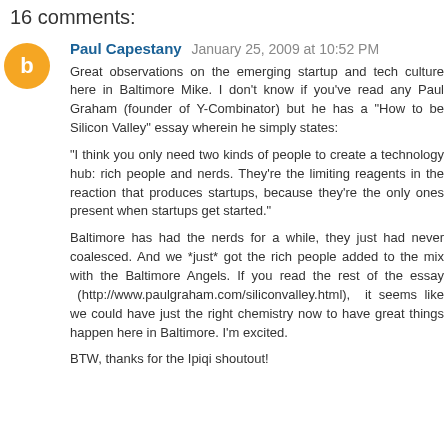16 comments:
Paul Capestany  January 25, 2009 at 10:52 PM

Great observations on the emerging startup and tech culture here in Baltimore Mike. I don't know if you've read any Paul Graham (founder of Y-Combinator) but he has a "How to be Silicon Valley" essay wherein he simply states:

"I think you only need two kinds of people to create a technology hub: rich people and nerds. They're the limiting reagents in the reaction that produces startups, because they're the only ones present when startups get started."

Baltimore has had the nerds for a while, they just had never coalesced. And we *just* got the rich people added to the mix with the Baltimore Angels. If you read the rest of the essay (http://www.paulgraham.com/siliconvalley.html), it seems like we could have just the right chemistry now to have great things happen here in Baltimore. I'm excited.

BTW, thanks for the Ipiqi shoutout!